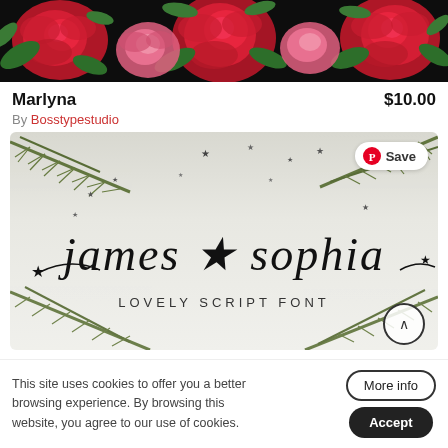[Figure (photo): Decorative banner with red roses and green leaves on a dark background]
Marlyna
$10.00
By Bosstypestudio
[Figure (photo): Font preview image showing 'james sophia' in a decorative script font with stars and pine branches, labeled 'LOVELY SCRIPT FONT'. Has a Pinterest Save button and scroll-up button overlay.]
This site uses cookies to offer you a better browsing experience. By browsing this website, you agree to our use of cookies.